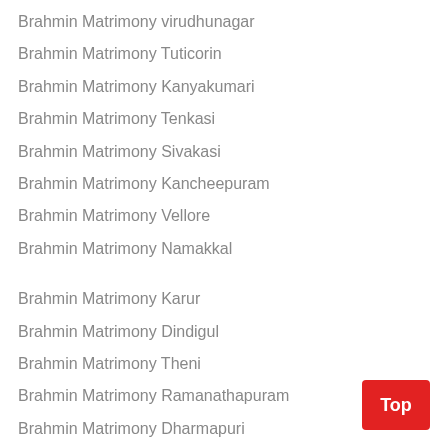Brahmin Matrimony virudhunagar
Brahmin Matrimony Tuticorin
Brahmin Matrimony Kanyakumari
Brahmin Matrimony Tenkasi
Brahmin Matrimony Sivakasi
Brahmin Matrimony Kancheepuram
Brahmin Matrimony Vellore
Brahmin Matrimony Namakkal
Brahmin Matrimony Karur
Brahmin Matrimony Dindigul
Brahmin Matrimony Theni
Brahmin Matrimony Ramanathapuram
Brahmin Matrimony Dharmapuri
Brahmin Matrimony Cuddalore
Brahmin Matrimony krishnagiri
Brahmin Matrimony Nagapattinam
Brahmin Matrimony Nilgiris
Brahmin Matrimony Perambalur